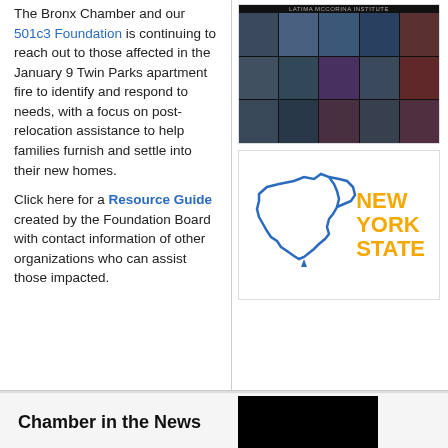The Bronx Chamber and our 501c3 Foundation is continuing to reach out to those affected in the January 9 Twin Parks apartment fire to identify and respond to needs, with a focus on post-relocation assistance to help families furnish and settle into their new homes.
[Figure (screenshot): Video conference (Zoom) screenshot showing multiple participants in a grid view, with a banner text at the top]
[Figure (logo): New York State logo — outline map of New York State in blue with text 'NEW YORK STATE' in orange/gold on the right]
Click here for a Resource Guide created by the Foundation Board with contact information of other organizations who can assist those impacted.
Chamber in the News
[Figure (photo): Partially visible dark/black photo at bottom right]